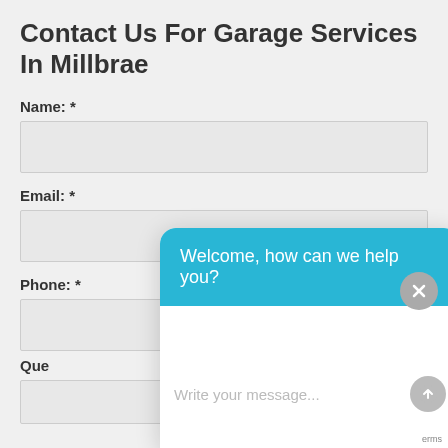Contact Us For Garage Services In Millbrae
Name: *
Email: *
Phone: *
Que
[Figure (screenshot): Chat widget popup overlay with blue header saying 'Welcome, how can we help you?' and a white body with placeholder text 'Write your message...' and a send button, plus a close (X) button top right]